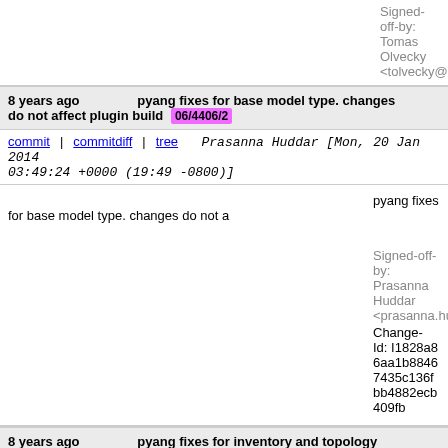Signed-off-by: Tomas Olvecky <tolvecky@cisco.com>
8 years ago  pyang fixes for base model type. changes do not affect plugin build  06/4406/2
commit | commitdiff | tree   Prasanna Huddar [Mon, 20 Jan 2014 03:49:24 +0000 (19:49 -0800)]
pyang fixes for base model type. changes do not a
Signed-off-by: Prasanna Huddar <prasanna.huddar@ericsson.com>
Change-Id: I1828a86aa1b88467435c136fbb4882ecb409fb
8 years ago  pyang fixes for inventory and topology models  05/4405/2
commit | commitdiff | tree   Prasanna Huddar [Mon, 20 Jan 2014 03:43:39 +0000 (19:43 -0800)]
pyang fixes for inventory and topology models
Signed-off-by: Prasanna Huddar <prasanna.huddar@ericsson.com>
Change-Id: I0ef0e3a7a0ca96743d5c1d304b3a9f70714593